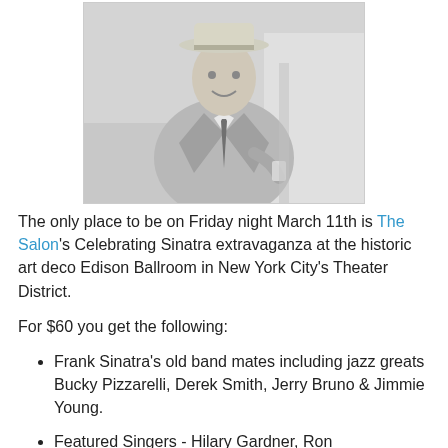[Figure (photo): Black and white photo of a man in a light suit and hat, smiling, holding a glass]
The only place to be on Friday night March 11th is The Salon's Celebrating Sinatra extravaganza at the historic art deco Edison Ballroom in New York City's Theater District.
For $60 you get the following:
Frank Sinatra's old band mates including jazz greats Bucky Pizzarelli, Derek Smith, Jerry Bruno & Jimmie Young.
Featured Singers - Hilary Gardner, Ron